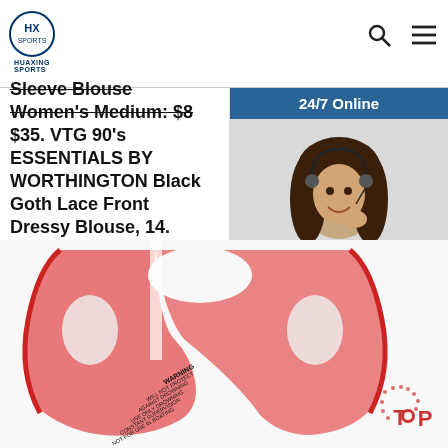HUAXING SPORTS logo, search icon, menu icon
Sleeve Blouse Women's Medium: $8 $35. VTG 90's ESSENTIALS BY WORTHINGTON Black Goth Lace Front Dressy Blouse, 14.
Get Price
[Figure (photo): Customer service representative woman with headset smiling, 24/7 Online badge, Click here for free chat!, QUOTATION button]
[Figure (photo): Pink life vest/flotation device with warning label text reading: WARNING WILL NOT PROTECT AGAINST DROWNING USE ONLY DROWNING CONSTANT SUPERVISION NOT FOR USE IN BOATING. TOP badge visible in bottom right corner.]